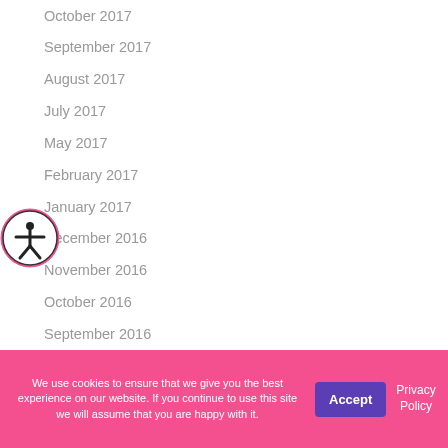October 2017
September 2017
August 2017
July 2017
May 2017
February 2017
January 2017
December 2016
November 2016
October 2016
September 2016
We use cookies to ensure that we give you the best experience on our website. If you continue to use this site we will assume that you are happy with it.
Accept
Privacy Policy